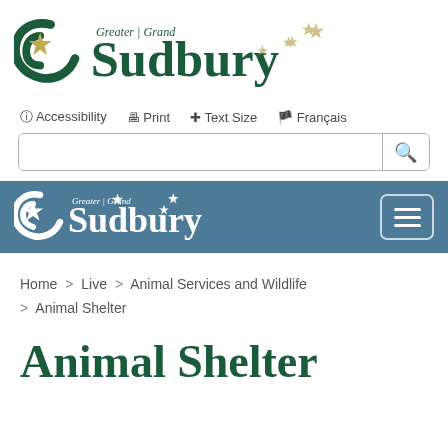[Figure (logo): City of Greater Sudbury logo with green circular S motif, gold star, and decorative stars on right]
Accessibility  Print  Text Size  Français
[Figure (screenshot): Search bar with magnifying glass icon]
[Figure (logo): Greater Grand Sudbury white logo on steel blue navigation bar with hamburger menu button]
Home > Live > Animal Services and Wildlife > Animal Shelter
Animal Shelter